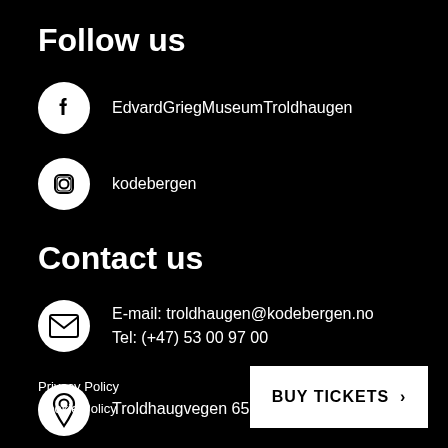Follow us
EdvardGriegMuseumTroldhaugen
kodebergen
Contact us
E-mail: troldhaugen@kodebergen.no
Tel: (+47) 53 00 97 00
Troldhaugvegen 65, 5232 Paradis-Bergen
Privacy Policy
Cookie Policy
BUY TICKETS >